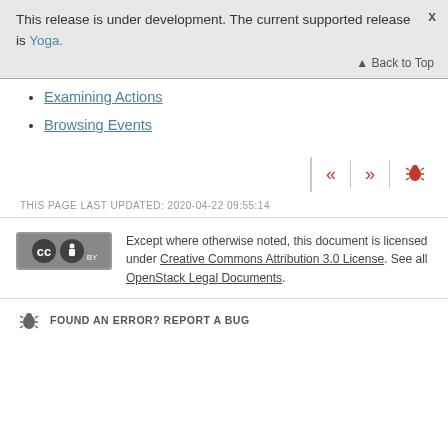This release is under development. The current supported release is Yoga.
Back to Top
Examining Actions
Browsing Events
THIS PAGE LAST UPDATED: 2020-04-22 09:55:14
Except where otherwise noted, this document is licensed under Creative Commons Attribution 3.0 License. See all OpenStack Legal Documents.
FOUND AN ERROR? REPORT A BUG